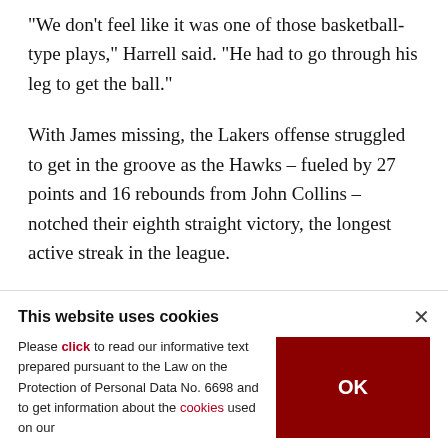"We don't feel like it was one of those basketball-type plays," Harrell said. "He had to go through his leg to get the ball."
With James missing, the Lakers offense struggled to get in the groove as the Hawks – fueled by 27 points and 16 rebounds from John Collins – notched their eighth straight victory, the longest active streak in the league.
The Lakers fell to 28-14 to remain in second place
This website uses cookies
Please click to read our informative text prepared pursuant to the Law on the Protection of Personal Data No. 6698 and to get information about the cookies used on our